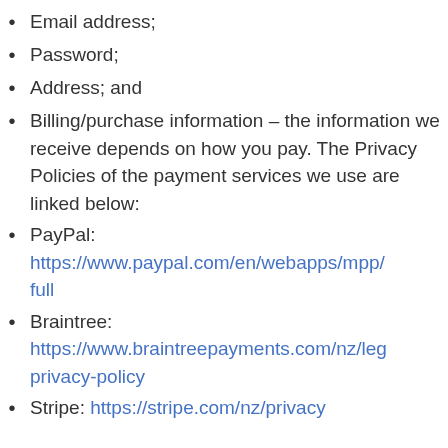Email address;
Password;
Address; and
Billing/purchase information – the information we receive depends on how you pay. The Privacy Policies of the payment services we use are linked below:
PayPal: https://www.paypal.com/en/webapps/mpp/full
Braintree: https://www.braintreepayments.com/nz/legal/privacy-policy
Stripe: https://stripe.com/nz/privacy